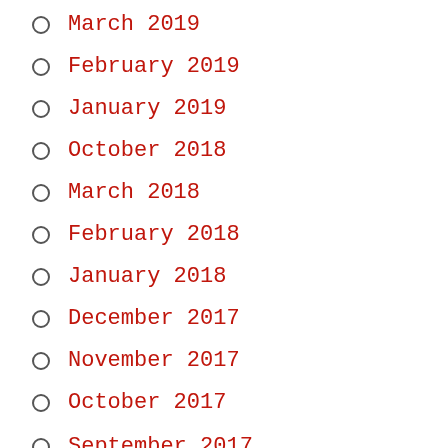March 2019
February 2019
January 2019
October 2018
March 2018
February 2018
January 2018
December 2017
November 2017
October 2017
September 2017